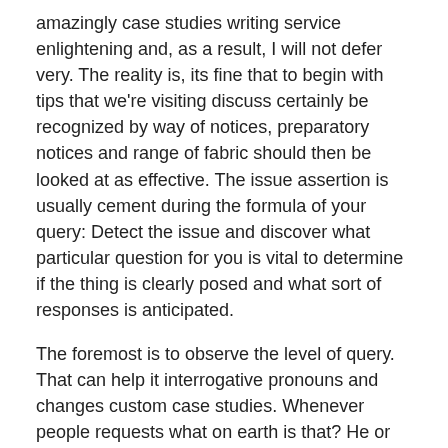amazingly case studies writing service enlightening and, as a result, I will not defer very. The reality is, its fine that to begin with tips that we're visiting discuss certainly be recognized by way of notices, preparatory notices and range of fabric should then be looked at as effective. The issue assertion is usually cement during the formula of your query: Detect the issue and discover what particular question for you is vital to determine if the thing is clearly posed and what sort of responses is anticipated.
The foremost is to observe the level of query. That can help it interrogative pronouns and changes custom case studies. Whenever people requests what on earth is that? He or she is prompting a collection of looking for signs order case study that idea, that is nicely integrated in the quality, a brief description, a free account in the group in the item, and the like. When posed how this is finished? (If making, actions, awareness, knowledge, and so forth.) Are wanting to know guidelines to attract the marked.
Your second would be to understand this issue. The following we have been having a variation amongst matter and dilemma, which